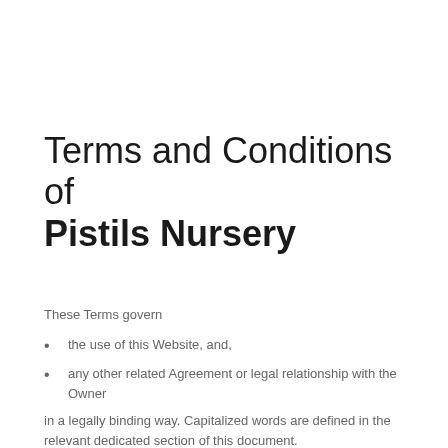Terms and Conditions of Pistils Nursery
These Terms govern
the use of this Website, and,
any other related Agreement or legal relationship with the Owner
in a legally binding way. Capitalized words are defined in the relevant dedicated section of this document.